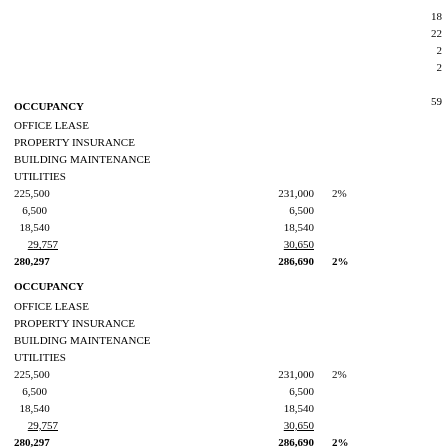18
22
2
2
59
OCCUPANCY
OFFICE LEASE
PROPERTY INSURANCE
BUILDING MAINTENANCE
UTILITIES
|  | Col1 | Col2 | Pct |
| --- | --- | --- | --- |
| 225,500 | 231,000 | 2% |
| 6,500 | 6,500 |  |
| 18,540 | 18,540 |  |
| 29,757 | 30,650 |  |
| 280,297 | 286,690 | 2% |
OCCUPANCY
OFFICE LEASE
PROPERTY INSURANCE
BUILDING MAINTENANCE
UTILITIES
|  | Col1 | Col2 | Pct |
| --- | --- | --- | --- |
| 225,500 | 231,000 | 2% |
| 6,500 | 6,500 |  |
| 18,540 | 18,540 |  |
| 29,757 | 30,650 |  |
| 280,297 | 286,690 | 2% |
EQUIPMENT SERVICE/MAINTENANCE